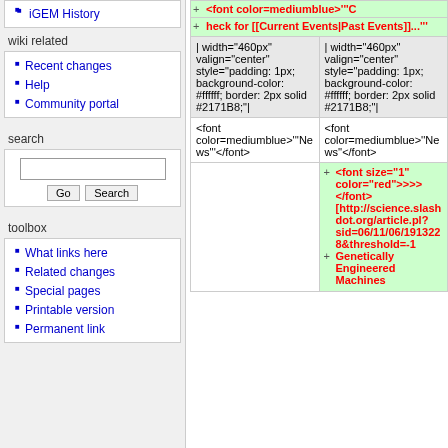iGEM History
wiki related
Recent changes
Help
Community portal
search
toolbox
What links here
Related changes
Special pages
Printable version
Permanent link
| | width="460px" valign="center" style="padding: 1px; background-color: #ffffff; border: 2px solid #2171B8;"| | | width="460px" valign="center" style="padding: 1px; background-color: #ffffff; border: 2px solid #2171B8;"| |
| <font color=mediumblue>'''News'''</font> | <font color=mediumblue>''News''</font> |
|  | <font size="1" color="red">>>>  </font>
[http://science.slashdot.org/article.pl?sid=06/11/06/1913228&threshold=-1 Genetically Engineered Machines |